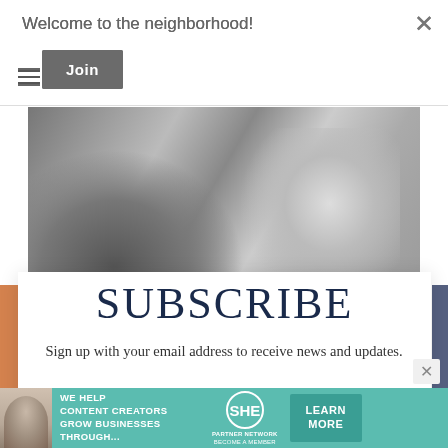Welcome to the neighborhood!
Join
[Figure (photo): Black and white photo of a person sitting, wearing white shirt and jeans]
SUBSCRIBE
Sign up with your email address to receive news and updates.
[Figure (infographic): SHE Partner Network advertisement banner: 'We help content creators grow businesses through...' with Learn More button]